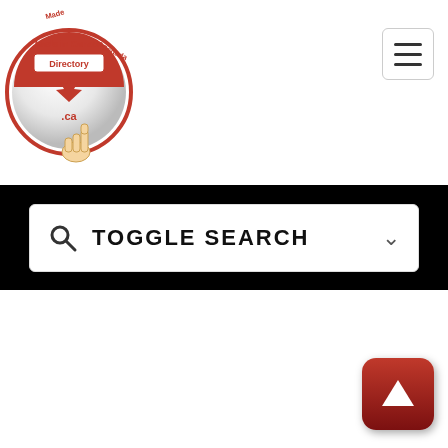[Figure (logo): Made in Canada Directory circular logo with Canadian maple leaf, .ca text, and hand pointer graphic]
[Figure (other): Hamburger menu button (three horizontal lines) in a rounded square border]
[Figure (other): Toggle search bar with magnifying glass icon, TOGGLE SEARCH text, and chevron arrow, on black background]
[Figure (other): Scroll-to-top button: dark red rounded square with white upward arrow]